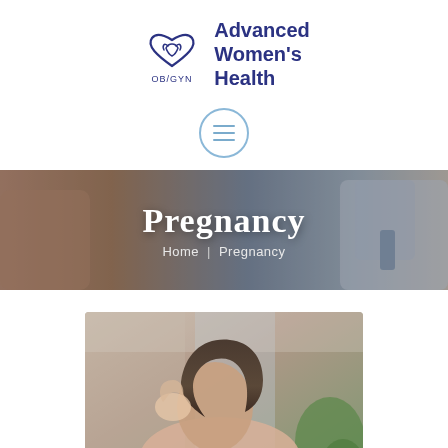[Figure (logo): Advanced Women's Health OB/GYN logo with heart and hands icon]
[Figure (other): Hamburger menu button circle icon]
[Figure (photo): Hero banner showing pregnant woman with doctor, overlaid with text 'Pregnancy' and breadcrumb 'Home | Pregnancy']
[Figure (photo): Photo of a woman with dark hair touching her head, looking downward, with green plant in background]